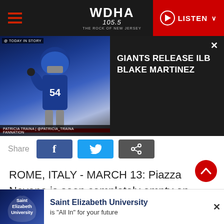WDHA 105.5 THE ROCK OF NEW JERSEY — LISTEN
[Figure (screenshot): Video thumbnail showing NFL player in blue NY Giants uniform with number 54, with dark panel overlay showing headline: GIANTS RELEASE ILB BLAKE MARTINEZ]
Share
ROME, ITALY - MARCH 13: Piazza Navona is seen completely empty on March 13, 2020 in Rome, Italy. Rome's streets were eerily quiet on the second day of a nationwide shuttering of schools, shops and other public places. Italy has more than 15,000 confirmed cases of
[Figure (screenshot): Advertisement banner for Saint Elizabeth University: Saint Elizabeth University is "All In" for your future]